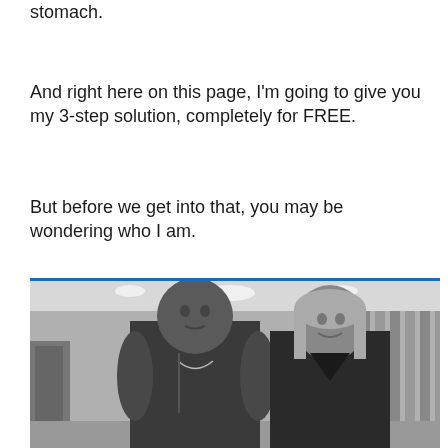stomach.
And right here on this page, I'm going to give you my 3-step solution, completely for FREE.
But before we get into that, you may be wondering who I am.
[Figure (photo): Black and white photo of a man and woman standing together in a gym. The man is on the left, muscular, wearing a sleeveless black zip-up top. The woman is on the right, smiling, wearing a dark sleeveless top. Gym equipment visible in the background.]